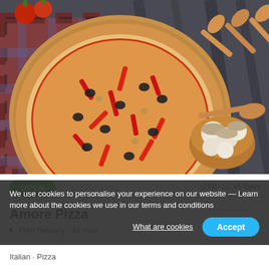[Figure (photo): Overhead photo of a pepperoni and olive pizza on a wooden board, surrounded by wooden spoons, mushrooms in a bowl, tomatoes, and a plaid cloth on a dark wooden table.]
OPEN
12:00 - 22:45 Open
Amore Pizza
Free Delivery : 45 mins
Italian · Pizza
We use cookies to personalise your experience on our website — Learn more about the cookies we use in our terms and conditions
What are cookies
Accept